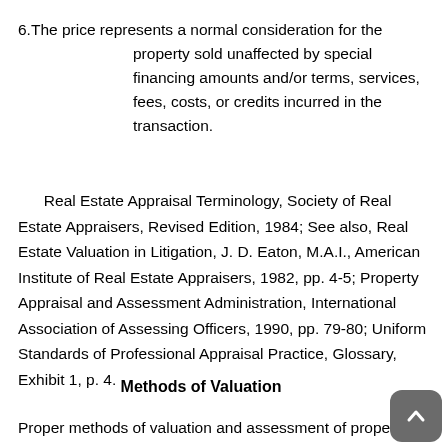6.The price represents a normal consideration for the property sold unaffected by special financing amounts and/or terms, services, fees, costs, or credits incurred in the transaction.
Real Estate Appraisal Terminology, Society of Real Estate Appraisers, Revised Edition, 1984; See also, Real Estate Valuation in Litigation, J. D. Eaton, M.A.I., American Institute of Real Estate Appraisers, 1982, pp. 4-5; Property Appraisal and Assessment Administration, International Association of Assessing Officers, 1990, pp. 79-80; Uniform Standards of Professional Appraisal Practice, Glossary, Exhibit 1, p. 4.
Methods of Valuation
Proper methods of valuation and assessment of property are